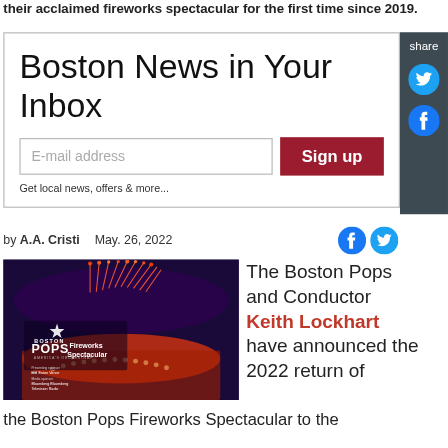their acclaimed fireworks spectacular for the first time since 2019.
Boston News in Your Inbox
E-mail address
Sign up
Get local news, offers & more...
share
by A.A. Cristi   May. 26, 2022
[Figure (photo): Boston Pops Fireworks Spectacular promotional image showing fireworks over a stage with Boston Pops branding, Eaton Vance presenting sponsor, Bloomberg Television and Bloomberg Radio media sponsors.]
The Boston Pops and Conductor Keith Lockhart have announced the 2022 return of the Boston Pops Fireworks Spectacular to the